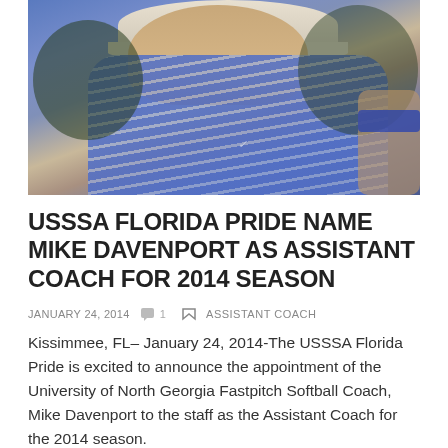[Figure (photo): Photograph of a man wearing a blue and white striped polo shirt and a light-colored cap, viewed from roughly the chest up, in an outdoor setting.]
USSSA FLORIDA PRIDE NAME MIKE DAVENPORT AS ASSISTANT COACH FOR 2014 SEASON
JANUARY 24, 2014   1   ASSISTANT COACH
Kissimmee, FL– January 24, 2014-The USSSA Florida Pride is excited to announce the appointment of the University of North Georgia Fastpitch Softball Coach, Mike Davenport to the staff as the Assistant Coach for the 2014 season.